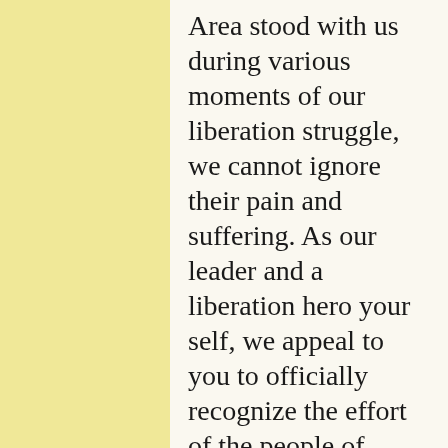Area stood with us during various moments of our liberation struggle, we cannot ignore their pain and suffering. As our leader and a liberation hero your self, we appeal to you to officially recognize the effort of the people of Abyei to join Republic of South Sudan. Their community referendum results will be in favour of